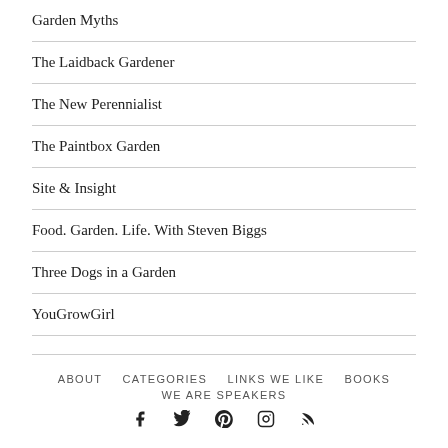Garden Myths
The Laidback Gardener
The New Perennialist
The Paintbox Garden
Site & Insight
Food. Garden. Life. With Steven Biggs
Three Dogs in a Garden
YouGrowGirl
ABOUT   CATEGORIES   LINKS WE LIKE   BOOKS   WE ARE SPEAKERS